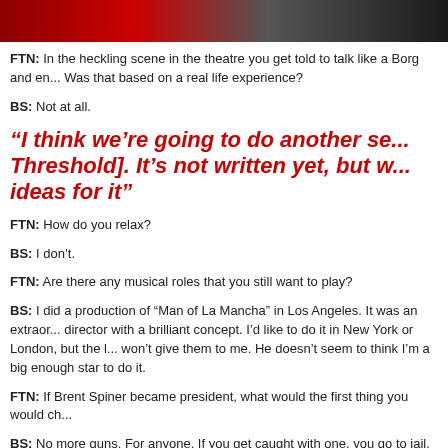[Figure (photo): Dark video/image banner at top of page, partially showing a YouTube thumbnail with dark red and grey tones]
FTN: In the heckling scene in the theatre you get told to talk like a Borg and en... Was that based on a real life experience?
BS: Not at all.
“I think we’re going to do another se... Threshold]. It’s not written yet, but w... ideas for it”
FTN: How do you relax?
BS: I don’t.
FTN: Are there any musical roles that you still want to play?
BS: I did a production of “Man of La Mancha” in Los Angeles. It was an extraor... director with a brilliant concept. I’d like to do it in New York or London, but the l... won’t give them to me. He doesn’t seem to think I’m a big enough star to do it.
FTN: If Brent Spiner became president, what would the first thing you would ch...
BS: No more guns. For anyone. If you get caught with one, you go to jail. Hum... each other. It’s not one of the essentials, like food or freedom. And no more ge...
FTN: Would you take part in any reality television like Dancing With the Stars?...